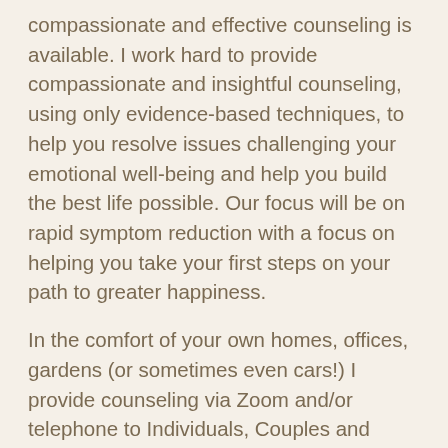compassionate and effective counseling is available. I work hard to provide compassionate and insightful counseling, using only evidence-based techniques, to help you resolve issues challenging your emotional well-being and help you build the best life possible. Our focus will be on rapid symptom reduction with a focus on helping you take your first steps on your path to greater happiness.
In the comfort of your own homes, offices, gardens (or sometimes even cars!) I provide counseling via Zoom and/or telephone to Individuals, Couples and Families. I will work closely with you to help you improve your relationships, minimize your emotional distress and self-defeating thoughts and behaviors, so that you may lead a life that is worth celebrating. Together, we will examine your long-standing behavior patterns and/or unhelpful perceptions, and teach you easily-implemented alternatives. For those who seek Sex Therapy, I am also a Professor of Sexology, having taught "Clinical Treatments of Male Sexual Dysfunction" for many